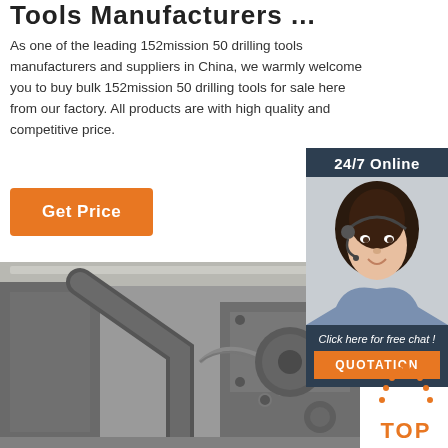Tools Manufacturers ...
As one of the leading 152mission 50 drilling tools manufacturers and suppliers in China, we warmly welcome you to buy bulk 152mission 50 drilling tools for sale here from our factory. All products are with high quality and competitive price.
Get Price
[Figure (photo): Customer service representative wearing a headset, smiling, with '24/7 Online' header and 'Click here for free chat!' and 'QUOTATION' button on a dark blue background widget]
[Figure (photo): Close-up photograph of industrial drilling equipment or machinery components in black and white/grayscale tones]
[Figure (other): Orange 'TOP' button with dotted arch icon above it]